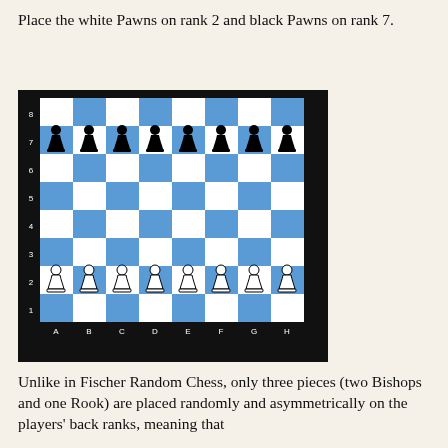Place the white Pawns on rank 2 and black Pawns on rank 7.
[Figure (illustration): Chess board showing 8x8 grid with blue and white squares, rank numbers 1-8 on left side, file letters A-H on bottom. Black pawns on rank 7, white pawns on rank 2.]
Unlike in Fischer Random Chess, only three pieces (two Bishops and one Rook) are placed randomly and asymmetrically on the players' back ranks, meaning that